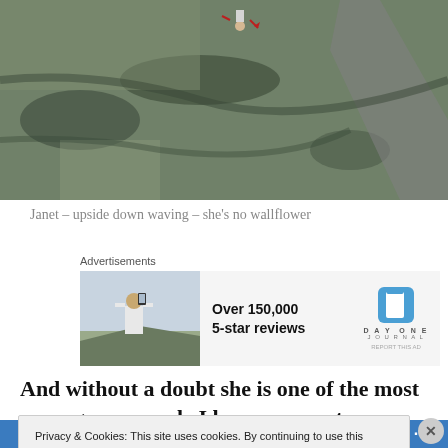[Figure (photo): Aerial photograph of a coastal or wetland landscape with green and brown terrain, water features, and a road. A person appears to be upside-down waving visible in upper portion.]
Janet – upside down waving – she's no wallflower
[Figure (screenshot): Advertisement for Day One Journal app showing a person photographing scenery, with text 'Over 150,000 5-star reviews' and Day One Journal logo]
And without a doubt she is one of the most courageous people I have ever met; some of the things I do she
Privacy & Cookies: This site uses cookies. By continuing to use this website, you agree to their use.
To find out more, including how to control cookies, see here: Cookie Policy
Close and accept